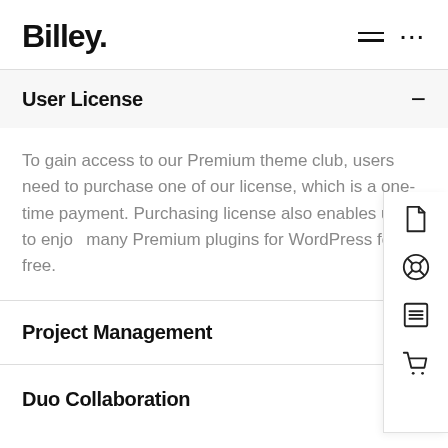Billey.
User License
To gain access to our Premium theme club, users need to purchase one of our license, which is a one-time payment. Purchasing license also enables users to enjoy many Premium plugins for WordPress for free.
Project Management
Duo Collaboration